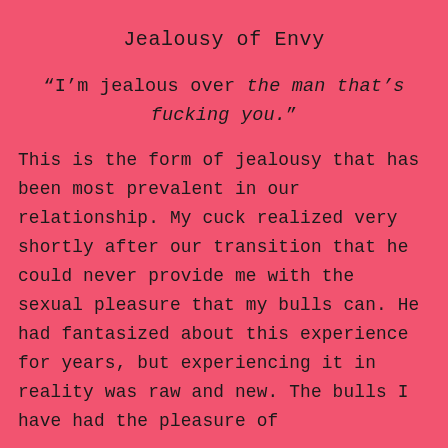Jealousy of Envy
“I’m jealous over the man that’s fucking you.”
This is the form of jealousy that has been most prevalent in our relationship. My cuck realized very shortly after our transition that he could never provide me with the sexual pleasure that my bulls can. He had fantasized about this experience for years, but experiencing it in reality was raw and new. The bulls I have had the pleasure of